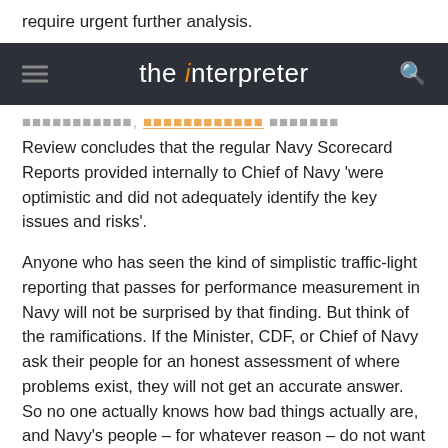require urgent further analysis.
the interpreter
Review concludes that the regular Navy Scorecard Reports provided internally to Chief of Navy 'were optimistic and did not adequately identify the key issues and risks'.
Anyone who has seen the kind of simplistic traffic-light reporting that passes for performance measurement in Navy will not be surprised by that finding. But think of the ramifications. If the Minister, CDF, or Chief of Navy ask their people for an honest assessment of where problems exist, they will not get an accurate answer. So no one actually knows how bad things actually are, and Navy's people – for whatever reason – do not want to report bad news.
It's highly unlikely that this problem of dishonest internal